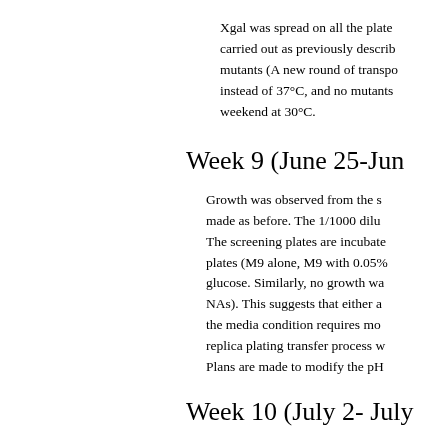Xgal was spread on all the plates carried out as previously described mutants (A new round of transpo instead of 37°C, and no mutants weekend at 30°C.
Week 9 (June 25-Jun
Growth was observed from the s made as before. The 1/1000 dilu The screening plates are incubate plates (M9 alone, M9 with 0.05% glucose. Similarly, no growth wa NAs). This suggests that either a the media condition requires mo replica plating transfer process w Plans are made to modify the pH
Week 10 (July 2- July